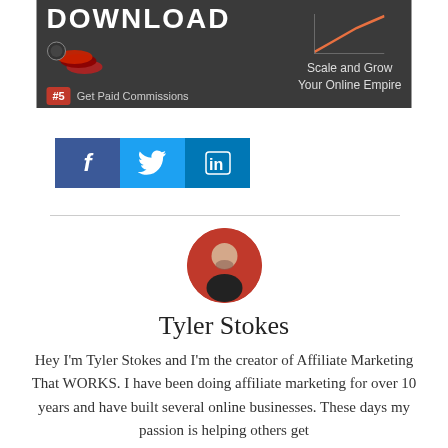[Figure (screenshot): Dark banner advertisement with '#5 Get Paid Commissions' badge on left, poker chips image, line chart icon on right, text 'Scale and Grow Your Online Empire', and partially visible 'Download' title at top]
[Figure (infographic): Social media share buttons: Facebook (f), Twitter (bird icon), LinkedIn (in)]
Tyler Stokes
Hey I'm Tyler Stokes and I'm the creator of Affiliate Marketing That WORKS. I have been doing affiliate marketing for over 10 years and have built several online businesses. These days my passion is helping others get